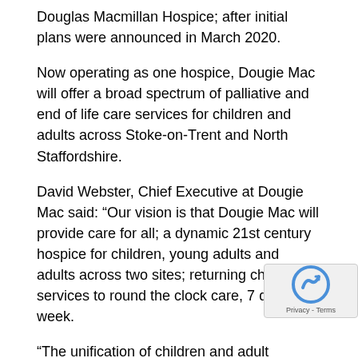Douglas Macmillan Hospice; after initial plans were announced in March 2020.
Now operating as one hospice, Dougie Mac will offer a broad spectrum of palliative and end of life care services for children and adults across Stoke-on-Trent and North Staffordshire.
David Webster, Chief Executive at Dougie Mac said: “Our vision is that Dougie Mac will provide care for all; a dynamic 21st century hospice for children, young adults and adults across two sites; returning children’s services to round the clock care, 7 days a week.
“The unification of children and adult services is a landmark achievement which will ensure all patients and their fa... continue to receive exceptional care and support for a... ...